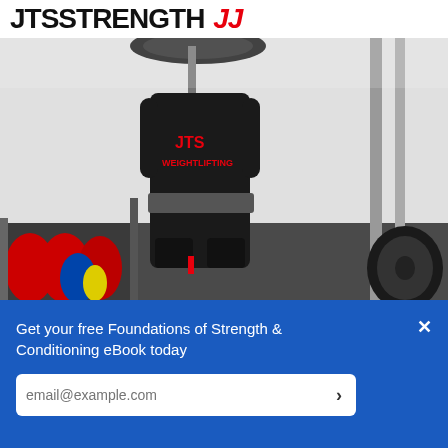JTSSTRENGTH JJ
[Figure (photo): A weightlifter in a black JTS Weightlifting singlet performs a jerk, holding a barbell overhead with arms extended, feet off the ground. The gym background shows resistance bands in red and black, weight plates on a rack, and a barbell with weights.]
Weightlifting
Warming Up for the Jerk
Try out these drills for a better and
Get your free Foundations of Strength & Conditioning eBook today